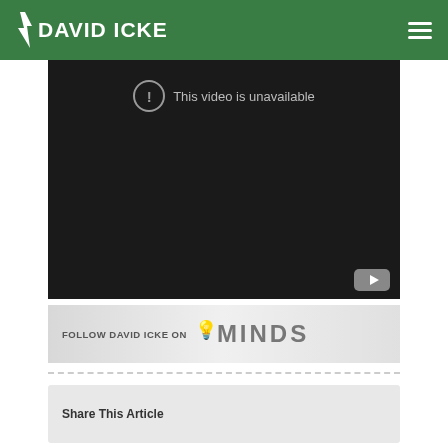DAVID ICKE
[Figure (screenshot): Embedded video player showing 'This video is unavailable' message on dark background with YouTube icon in corner]
[Figure (illustration): Follow David Icke on Minds promotional banner with Minds logo]
Share This Article